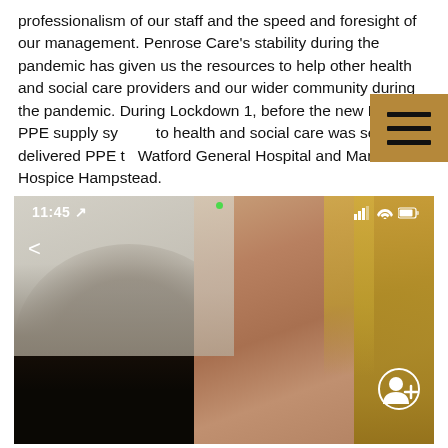professionalism of our staff and the speed and foresight of our management. Penrose Care's stability during the pandemic has given us the resources to help other health and social care providers and our wider community during the pandemic. During Lockdown 1, before the new NHS PPE supply sy[stem] to health and social care was setup, we delivered PPE t[o] Watford General Hospital and Marie Curie Hospice Hampstead.
[Figure (photo): Screenshot of a video call showing two people. On the left is a person with dark hair (partially visible, lower portion of face). On the right is a woman with blonde hair smiling at the camera. The phone UI overlays show the time 11:45, signal bars, wifi, battery icons, a back arrow, and an add contact button.]